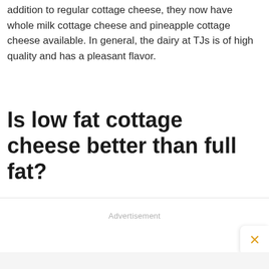addition to regular cottage cheese, they now have whole milk cottage cheese and pineapple cottage cheese available. In general, the dairy at TJs is of high quality and has a pleasant flavor.
Is low fat cottage cheese better than full fat?
Advertisement